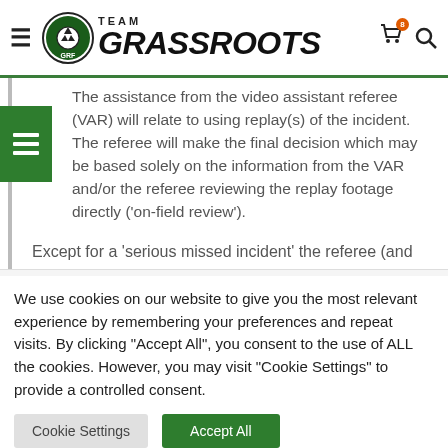Team Grassroots
The assistance from the video assistant referee (VAR) will relate to using replay(s) of the incident. The referee will make the final decision which may be based solely on the information from the VAR and/or the referee reviewing the replay footage directly ('on-field review').
Except for a 'serious missed incident' the referee (and
We use cookies on our website to give you the most relevant experience by remembering your preferences and repeat visits. By clicking "Accept All", you consent to the use of ALL the cookies. However, you may visit "Cookie Settings" to provide a controlled consent.